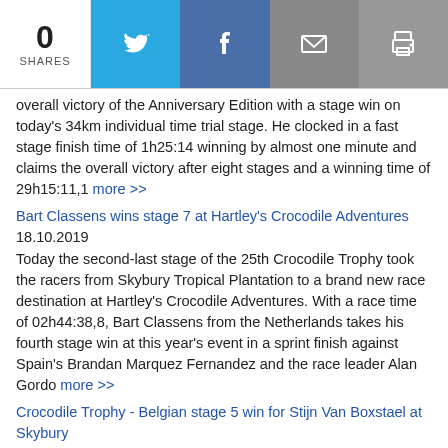0 SHARES
overall victory of the Anniversary Edition with a stage win on today's 34km individual time trial stage. He clocked in a fast stage finish time of 1h25:14 winning by almost one minute and claims the overall victory after eight stages and a winning time of 29h15:11,1 more >>
Bart Classens wins stage 7 at Hartley's Crocodile Adventures
18.10.2019
Today the second-last stage of the 25th Crocodile Trophy took the racers from Skybury Tropical Plantation to a brand new race destination at Hartley's Crocodile Adventures. With a race time of 02h44:38,8, Bart Classens from the Netherlands takes his fourth stage win at this year's event in a sprint finish against Spain's Brandan Marquez Fernandez and the race leader Alan Gordo more >>
Crocodile Trophy - Belgian stage 5 win for Stijn Van Boxstael at Skybury
16.10.2019
The Belgian Stijn Van Boxstael wins today's fifth stage at Skybury in 4h49:54,9. Dutch competitor Bart Classens finishes in 2nd +1:35min and the overall race lead remains with Alan Gordon. On the 120km maratho more >>
Crocodile Trophy -Alan Gordon increases overall race lead with stage 4 win
15.10.2019